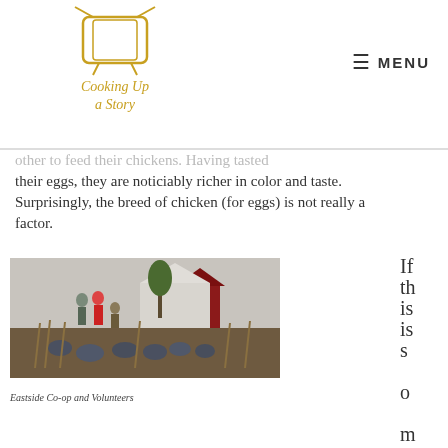Cooking Up a Story | MENU
their eggs, they are noticiably richer in color and taste. Surprisingly, the breed of chicken (for eggs) is not really a factor.
[Figure (photo): Farm scene with people and chickens in a field, with a red barn and white tent-like structure in the background. Several people in winter clothing standing among chickens.]
Eastside Co-op and Volunteers
If this is something